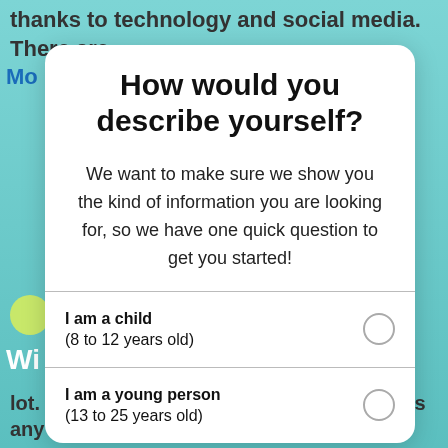thanks to technology and social media. There are
How would you describe yourself?
We want to make sure we show you the kind of information you are looking for, so we have one quick question to get you started!
I am a child (8 to 12 years old)
I am a young person (13 to 25 years old)
lot. But what does it mean? It simply means any